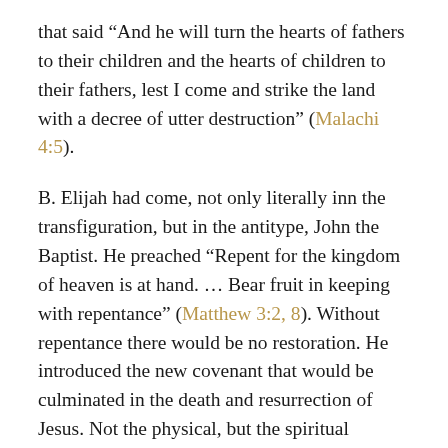that said “And he will turn the hearts of fathers to their children and the hearts of children to their fathers, lest I come and strike the land with a decree of utter destruction” (Malachi 4:5).
B. Elijah had come, not only literally inn the transfiguration, but in the antitype, John the Baptist. He preached “Repent for the kingdom of heaven is at hand. … Bear fruit in keeping with repentance” (Matthew 3:2, 8). Without repentance there would be no restoration. He introduced the new covenant that would be culminated in the death and resurrection of Jesus. Not the physical, but the spiritual children of Abraham constitute the kingdom, so “Even now the axe is laid to the root of the trees. Every tree, therefore, that does not bear good fruit is cut down and thrown into the fire” (Matthew 3:10). When asked